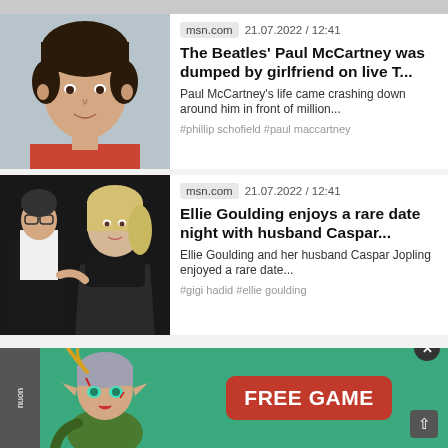[Figure (photo): Partial top strip image cropped at top of page]
[Figure (photo): Young Paul McCartney headshot with dark hair]
msn.com   21.07.2022 / 12:41
The Beatles' Paul McCartney was dumped by girlfriend on live T...
Paul McCartney's life came crashing down around him in front of million...
#phillip schofield #paul maccartney
[Figure (photo): Ellie Goulding and husband Caspar Jopling at a dark venue event]
msn.com   21.07.2022 / 12:41
Ellie Goulding enjoys a rare date night with husband Caspar...
Ellie Goulding and her husband Caspar Jopling enjoyed a rare date...
#gigi hadid #ellie goulding
[Figure (illustration): Fantasy elf warrior character advertisement with FREE GAME button on green background]